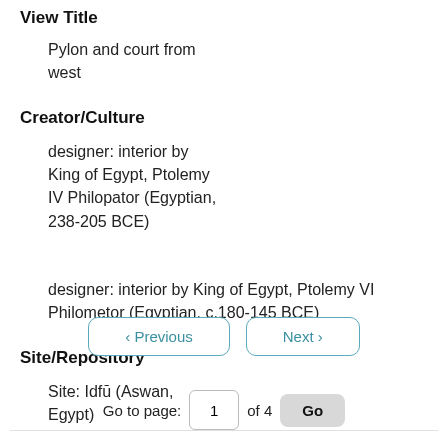View Title
Pylon and court from west
Creator/Culture
designer: interior by King of Egypt, Ptolemy IV Philopator (Egyptian, 238-205 BCE)
designer: interior by King of Egypt, Ptolemy VI Philometor (Egyptian, c.180-145 BCE)
Site/Repository
Site: Idfū (Aswan, Egypt)